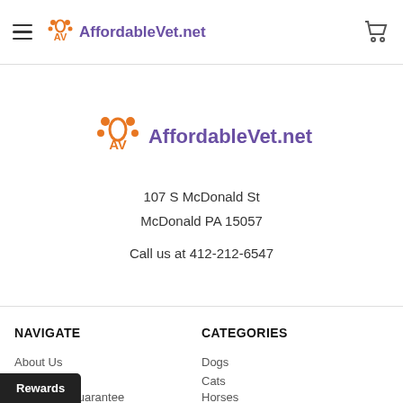AffordableVet.net
[Figure (logo): AffordableVet.net logo with orange paw/AV icon and purple text]
107 S McDonald St
McDonald PA 15057
Call us at 412-212-6547
NAVIGATE
CATEGORIES
About Us
Dogs
FAQ
Cats
Low Price Guarantee
Horses
Rewards